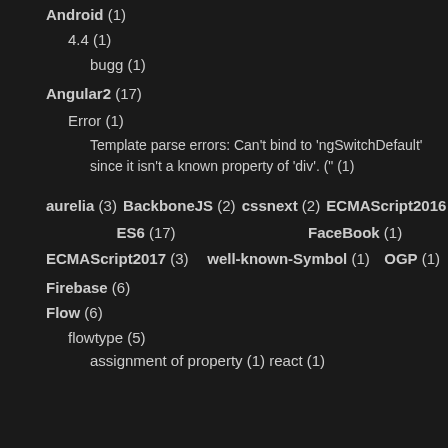Android (1)
4.4 (1)
bugg (1)
Angular2 (17)
Error (1)
Template parse errors: Can't bind to 'ngSwitchDefault' since it isn't a known property of 'div'. (" (1)
aurelia (3) BackboneJS (2) cssnext (2) ECMAScript2016 (2)
ES6 (17)                         FaceBook (1)
ECMAScript2017 (3)   well-known-Symbol (1)   OGP (1)
Firebase (6)
Flow (6)
flowtype (5)
assignment of property (1) react (1)